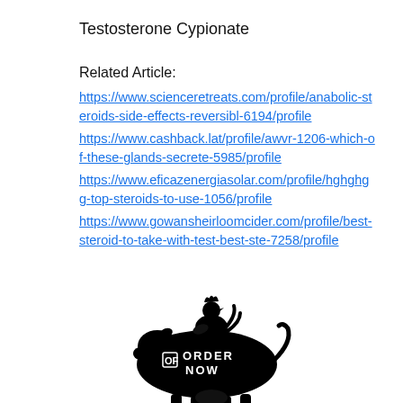Testosterone Cypionate
Related Article:
https://www.scienceretreats.com/profile/anabolic-steroids-side-effects-reversibl-6194/profile https://www.cashback.lat/profile/awvr-1206-which-of-these-glands-secrete-5985/profile https://www.eficazenergiasolar.com/profile/hghghgg-top-steroids-to-use-1056/profile https://www.gowansheirloomcider.com/profile/best-steroid-to-take-with-test-best-ste-7258/profile
[Figure (illustration): Black silhouette of a cow with a chicken sitting on top, with text 'ORDER NOW' on the cow's body and a small logo.]